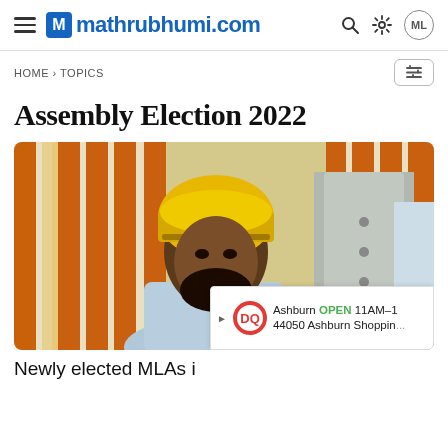mathrubhumi.com
HOME › TOPICS
Assembly Election 2022
[Figure (photo): Man wearing yellow turban and light blue blazer seated in front of orange marigold garlands, with another person in grey uniform standing behind him.]
Ashburn OPEN 11AM–1 44050 Ashburn Shopping
Newly elected MLAs i